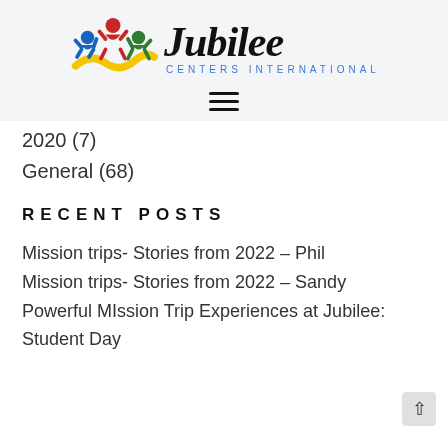[Figure (logo): Jubilee Centers International logo with colorful human figures and the text 'Jubilee CENTERS INTERNATIONAL']
2020 (7)
General (68)
RECENT POSTS
Mission trips- Stories from 2022 – Phil
Mission trips- Stories from 2022 – Sandy
Powerful MIssion Trip Experiences at Jubilee:
Student Day